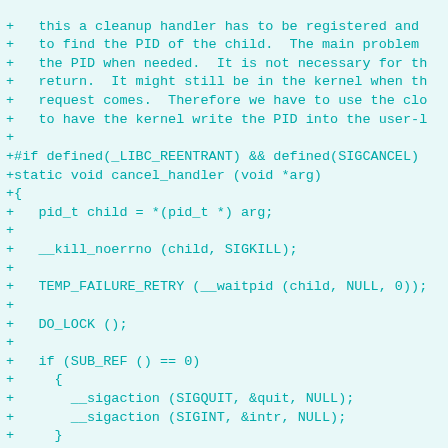Diff/patch code showing cancel_handler function and related macros in C source code